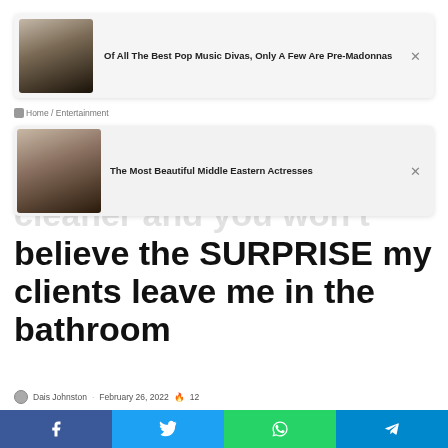[Figure (screenshot): Ad card 1: Of All The Best Pop Music Divas, Only A Few Are Pre-Madonnas]
Home / Entertainment
[Figure (screenshot): Ad card 2: The Most Beautiful Middle Eastern Actresses]
cleaner and you won't believe the SURPRISE my clients leave me in the bathroom
Dais Johnston · February 26, 2022 🔥 12
[Figure (infographic): Social share buttons: Facebook, Twitter, LinkedIn, Tumblr, Pinterest, Reddit]
[Figure (infographic): Bottom share bar: Facebook, Twitter, WhatsApp, Telegram]